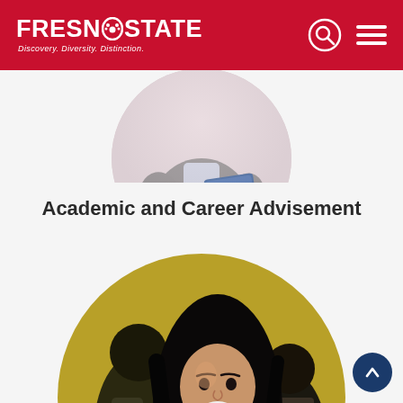FRESNO STATE — Discovery. Diversity. Distinction.
[Figure (photo): Circular cropped photo showing a person in a grey blazer holding a blue book or folder, visible from torso down]
Academic and Career Advisement
[Figure (photo): Circular cropped photo of smiling young woman with long dark hair looking down, with other students in the background against a golden/yellow wall]
[Figure (other): Scroll-to-top button with upward chevron arrow, dark navy blue circle]